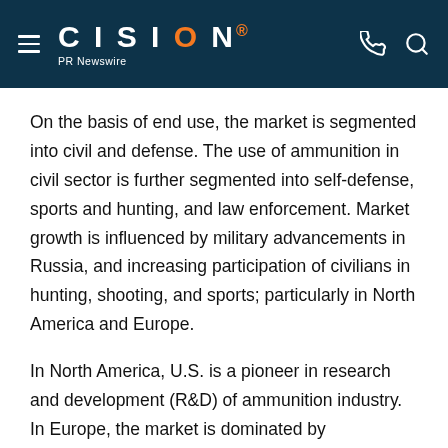CISION PR Newswire
On the basis of end use, the market is segmented into civil and defense. The use of ammunition in civil sector is further segmented into self-defense, sports and hunting, and law enforcement. Market growth is influenced by military advancements in Russia, and increasing participation of civilians in hunting, shooting, and sports; particularly in North America and Europe.
In North America, U.S. is a pioneer in research and development (R&D) of ammunition industry. In Europe, the market is dominated by manufacturing small arms and weapons industry. In the Asia Pacific